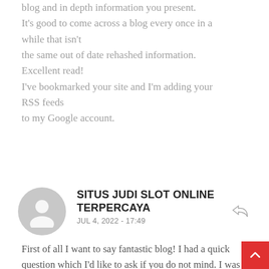blog and in depth information you present. It's good to come across a blog every once in a while that isn't the same out of date rehashed information. Excellent read! I've bookmarked your site and I'm adding your RSS feeds to my Google account.
SITUS JUDI SLOT ONLINE TERPERCAYA
JUL 4, 2022 - 17:49
First of all I want to say fantastic blog! I had a quick question which I'd like to ask if you do not mind. I was curious to find out how you center yourself and clear your thoughts prior to writing. I have had trouble clearing my thoughts in getting my thoughts out there.